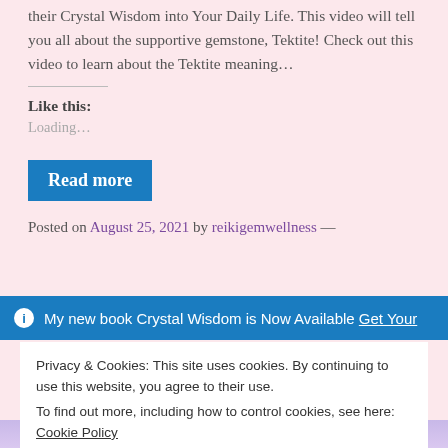their Crystal Wisdom into Your Daily Life. This video will tell you all about the supportive gemstone, Tektite! Check out this video to learn about the Tektite meaning…
Like this:
Loading…
Read more
Posted on August 25, 2021 by reikigemwellness —
My new book Crystal Wisdom is Now Available Get Your
Privacy & Cookies: This site uses cookies. By continuing to use this website, you agree to their use. To find out more, including how to control cookies, see here: Cookie Policy
Close and accept